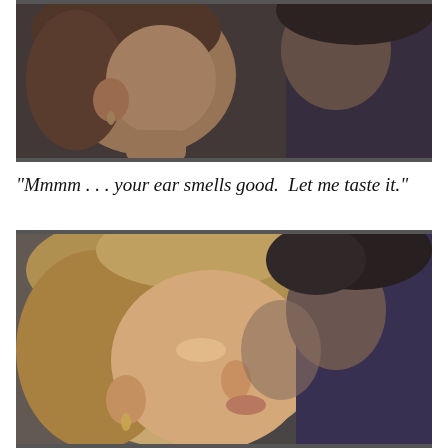[Figure (photo): Close-up still from a TV show or film showing a woman with blonde hair and small drop earrings leaning close to a dark-haired man in a dark jacket, appearing to be in an intimate moment near each other's faces.]
“Mmmm . . . your ear smells good.  Let me taste it.”
[Figure (photo): Close-up still from a TV show or film showing a blonde woman leaning into the neck/ear area of a dark-haired man in a dark jacket, in an intimate close embrace.]